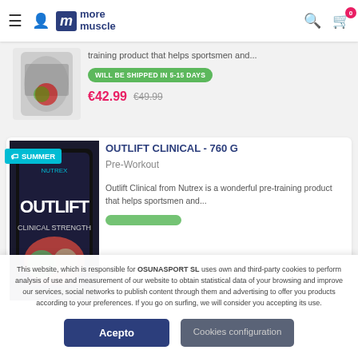more muscle — navigation header with hamburger menu, user icon, logo, search, cart (0)
training product that helps sportsmen and...
WILL BE SHIPPED IN 5-15 DAYS
€42.99  €49.99
[Figure (photo): Product image of supplement container (cropped, partially visible)]
OUTLIFT CLINICAL - 760 G
Pre-Workout
Outlift Clinical from Nutrex is a wonderful pre-training product that helps sportsmen and...
[Figure (photo): Outlift Clinical 760g supplement product image with SUMMER badge]
This website, which is responsible for OSUNASPORT SL uses own and third-party cookies to perform analysis of use and measurement of our website to obtain statistical data of your browsing and improve our services, social networks to publish content through them and advertising to offer you products according to your preferences. If you go on surfing, we will consider you accepting its use.
Acepto
Cookies configuration